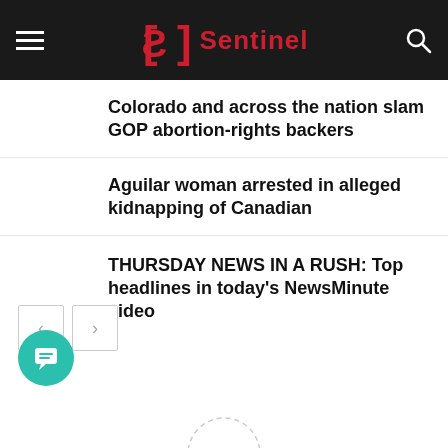Sentinel
Colorado and across the nation slam GOP abortion-rights backers
Aguilar woman arrested in alleged kidnapping of Canadian
THURSDAY NEWS IN A RUSH: Top headlines in today's NewsMinute video